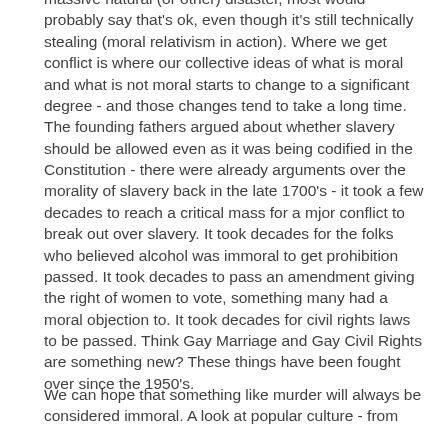massive natural (or other) disaster, most would probably say that's ok, even though it's still technically stealing (moral relativism in action).  Where we get conflict is where our collective ideas of what is moral and what is not moral starts to change to a significant degree - and those changes tend to take a long time.  The founding fathers argued about whether slavery should be allowed even as it was being codified in the Constitution - there were already arguments over the morality of slavery back in the late 1700's - it took a few decades to reach a critical mass for a mjor conflict to break out over slavery.  It took decades for the folks who believed alcohol was immoral to get prohibition passed.  It took decades to pass an amendment giving the right of women to vote, something many had a moral objection to.  It took decades for civil rights laws to be passed.  Think Gay Marriage and Gay Civil Rights are something new?  These things have been fought over since the 1950's.
We can hope that something like murder will always be considered immoral.  A look at popular culture - from